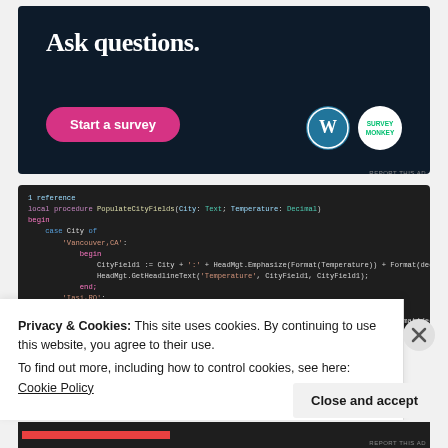[Figure (screenshot): Dark navy advertisement banner with white bold text 'Ask questions.' and a pink 'Start a survey' button, plus WordPress and SurveyMonkey logos on the right.]
[Figure (screenshot): Dark code editor screenshot showing Pascal/Delphi code with syntax highlighting: a procedure PopulateCityFields with case statement for Vancouver,CA and Iasi,RO cities.]
Privacy & Cookies: This site uses cookies. By continuing to use this website, you agree to their use.
To find out more, including how to control cookies, see here: Cookie Policy